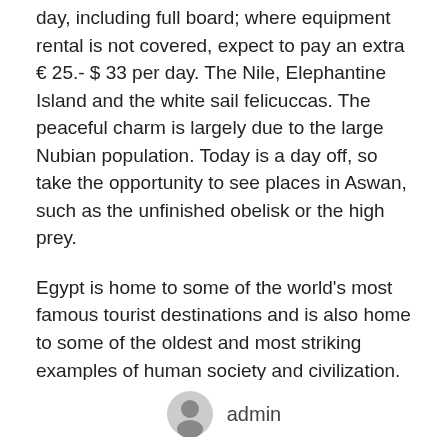day, including full board; where equipment rental is not covered, expect to pay an extra € 25.- $ 33 per day. The Nile, Elephantine Island and the white sail felicuccas. The peaceful charm is largely due to the large Nubian population. Today is a day off, so take the opportunity to see places in Aswan, such as the unfinished obelisk or the high prey.
Egypt is home to some of the world's most famous tourist destinations and is also home to some of the oldest and most striking examples of human society and civilization. There are Egyptian exhibitions in museums around the world, but they are nothing compared to the amazing beauty of seeing the Giza pyramid complex up close, or the legendary tomb of King Tutankhamun himself. From exploring coral reefs
admin